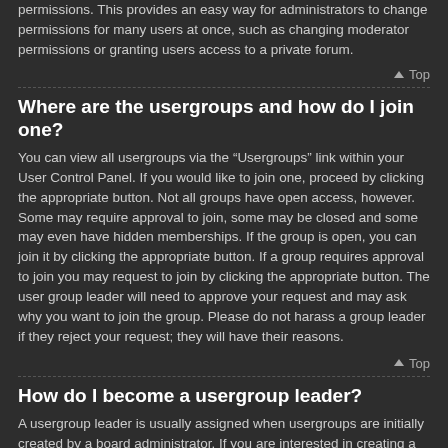permissions. This provides an easy way for administrators to change permissions for many users at once, such as changing moderator permissions or granting users access to a private forum.
Top
Where are the usergroups and how do I join one?
You can view all usergroups via the “Usergroups” link within your User Control Panel. If you would like to join one, proceed by clicking the appropriate button. Not all groups have open access, however. Some may require approval to join, some may be closed and some may even have hidden memberships. If the group is open, you can join it by clicking the appropriate button. If a group requires approval to join you may request to join by clicking the appropriate button. The user group leader will need to approve your request and may ask why you want to join the group. Please do not harass a group leader if they reject your request; they will have their reasons.
Top
How do I become a usergroup leader?
A usergroup leader is usually assigned when usergroups are initially created by a board administrator. If you are interested in creating a usergroup, your first point of contact should be an administrator; try sending a private message.
Top